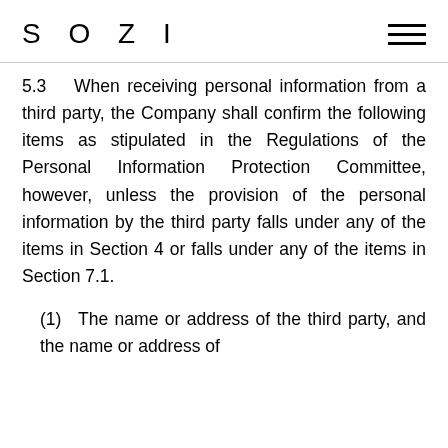SOZI
5.3  When receiving personal information from a third party, the Company shall confirm the following items as stipulated in the Regulations of the Personal Information Protection Committee, however, unless the provision of the personal information by the third party falls under any of the items in Section 4 or falls under any of the items in Section 7.1.
(1)  The name or address of the third party, and the name or address of